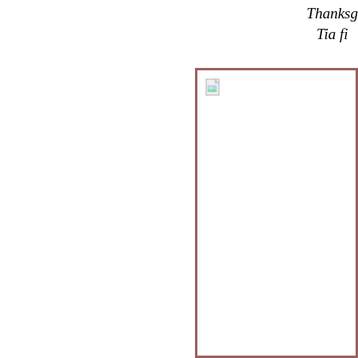Thanksgiving Tia fi
[Figure (photo): A partially visible image placeholder with a broken/loading image icon (small document icon with green and blue colors) in the upper-left corner, surrounded by a dark reddish-brown border frame. The image content is not visible (failed to load).]